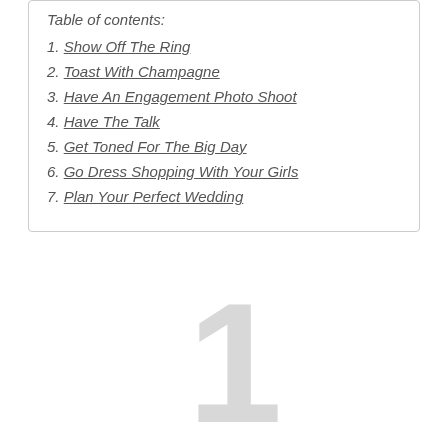Table of contents:
1. Show Off The Ring
2. Toast With Champagne
3. Have An Engagement Photo Shoot
4. Have The Talk
5. Get Toned For The Big Day
6. Go Dress Shopping With Your Girls
7. Plan Your Perfect Wedding
1